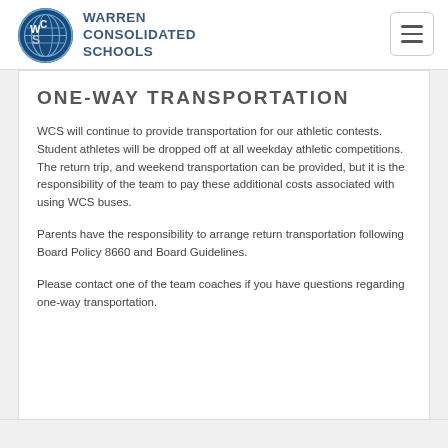[Figure (logo): Warren Consolidated Schools circular logo with WCS letters and globe, alongside school name text]
ONE-WAY TRANSPORTATION
WCS will continue to provide transportation for our athletic contests. Student athletes will be dropped off at all weekday athletic competitions. The return trip, and weekend transportation can be provided, but it is the responsibility of the team to pay these additional costs associated with using WCS buses.
Parents have the responsibility to arrange return transportation following Board Policy 8660 and Board Guidelines.
Please contact one of the team coaches if you have questions regarding one-way transportation.